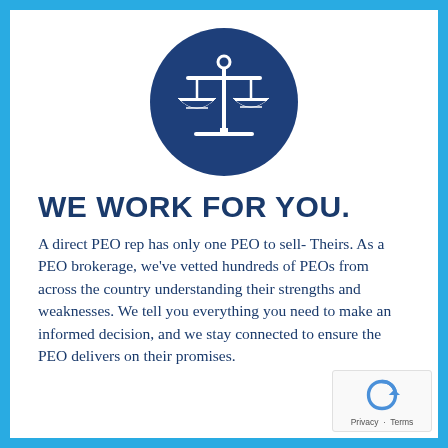[Figure (illustration): Dark blue circle containing a white scales of justice icon (balance/weighing scale)]
WE WORK FOR YOU.
A direct PEO rep has only one PEO to sell- Theirs. As a PEO brokerage, we've vetted hundreds of PEOs from across the country understanding their strengths and weaknesses. We tell you everything you need to make an informed decision, and we stay connected to ensure the PEO delivers on their promises.